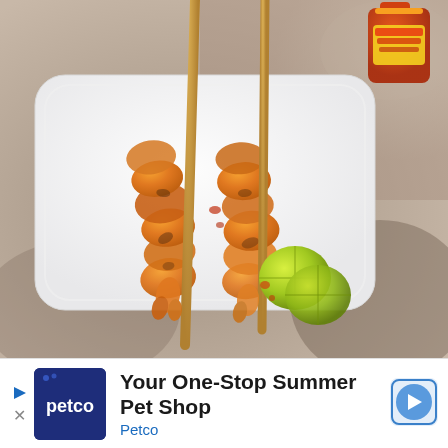[Figure (photo): Overhead photo of two grilled shrimp skewers on a white rectangular plate, placed on a stone/concrete surface. The shrimp are coated in orange spice seasoning. Two lime wedges sit to the right side of the plate. A bottle of hot sauce is visible in the top-right corner.]
[Figure (logo): Petco brand logo — white 'petco' text on a dark navy/blue square background with a small paw icon]
Your One-Stop Summer Pet Shop
Petco